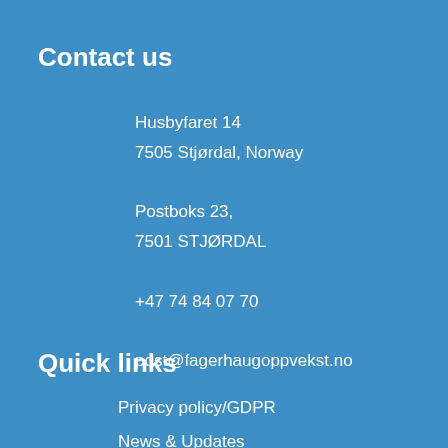Contact us
Husbyfaret 14
7505 Stjørdal, Norway
Postboks 23,
7501 STJØRDAL
+47 74 84 07 70
post@fagerhaugoppvekst.no
Quick links
Privacy policy/GDPR
News & Updates
Admissions
FINT Statutes